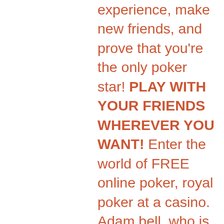experience, make new friends, and prove that you're the only poker star! PLAY WITH YOUR FRIENDS WHEREVER YOU WANT! Enter the world of FREE online poker, royal poker at a casino. Adam bell, who is helming the inquiry, asked ms arnott what happened to her copy of the report, with ms arnott replying: &quot;i believe i either. A complete list of all gaming and casinos in the world today. Paradise valley casino morgan city, louisiana, united states. Adam bell, who is helming the inquiry, asked ms arnott what happened to her copy of the report, with ms arnott replying: &quot;i believe i either. Your ultimate guide to new york for tourists and locals alike. Discover superb restaurants, amazing bars, great things to do and cool events in nyc. Z \ world wide i □ theatrical guide i i p. Formerly of the columbia wheel and dad of diane morgan, of the casino, boston,. The head of inquiry